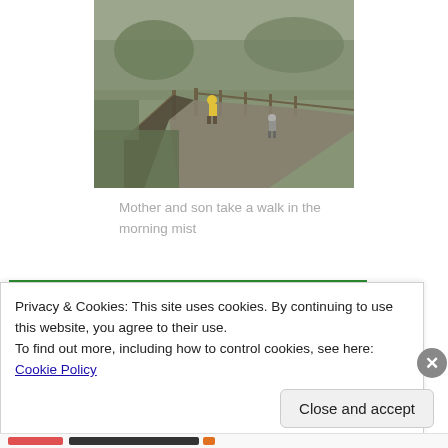[Figure (photo): Two people (mother and son) walking on a path through misty countryside with a fence line, taken in foggy morning light.]
Mother and son take a walk in the morning mist
[Figure (screenshot): Green advertisement banner for WordPress backup plugin]
Privacy & Cookies: This site uses cookies. By continuing to use this website, you agree to their use.
To find out more, including how to control cookies, see here: Cookie Policy
Close and accept